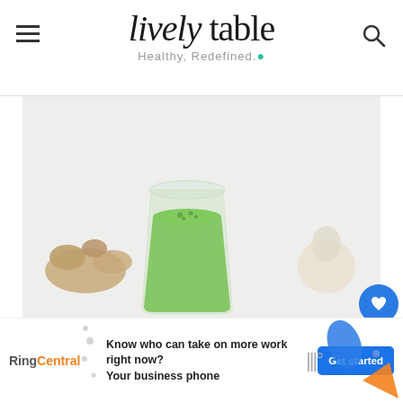lively table — Healthy, Redefined.
[Figure (photo): Food photo showing a green smoothie in a glass jar with ginger root and apple slices on a light background]
52
[Figure (infographic): WHAT'S NEXT arrow — Pineapple Kiwi Green... with thumbnail of a green smoothie]
[Figure (infographic): RingCentral advertisement: Know who can take on more work right now? Your business phone — Get started button]